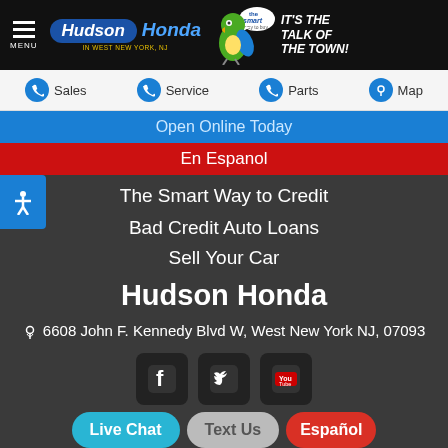[Figure (screenshot): Hudson Honda dealership website header with logo, parrot mascot, and tagline 'It's the Talk of the Town!']
MENU | Sales | Service | Parts | Map
Open Online Today
En Espanol
The Smart Way to Credit
Bad Credit Auto Loans
Sell Your Car
Hudson Honda
6608 John F. Kennedy Blvd W, West New York NJ, 07093
[Figure (logo): Social media icons: Facebook, Twitter, YouTube]
Live Chat | Text Us | Español
ADA Accessibility Statement | Privacy Policy | Disclaimer